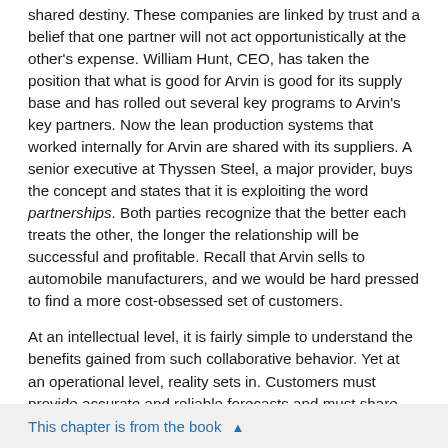shared destiny. These companies are linked by trust and a belief that one partner will not act opportunistically at the other's expense. William Hunt, CEO, has taken the position that what is good for Arvin is good for its supply base and has rolled out several key programs to Arvin's key partners. Now the lean production systems that worked internally for Arvin are shared with its suppliers. A senior executive at Thyssen Steel, a major provider, buys the concept and states that it is exploiting the word partnerships. Both parties recognize that the better each treats the other, the longer the relationship will be successful and profitable. Recall that Arvin sells to automobile manufacturers, and we would be hard pressed to find a more cost-obsessed set of customers.
At an intellectual level, it is fairly simple to understand the benefits gained from such collaborative behavior. Yet at an operational level, reality sets in. Customers must provide accurate and reliable forecasts and must share data with suppliers who then must provide timely delivery, reliable quality, and responsiveness to changes that might occur. The ability to provide data integrity is important but the true challenge is a process that is based on a
This chapter is from the book ▲